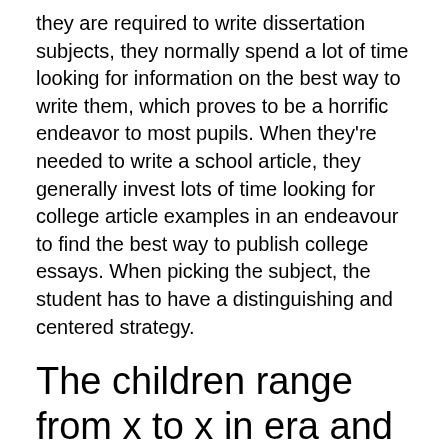they are required to write dissertation subjects, they normally spend a lot of time looking for information on the best way to write them, which proves to be a horrific endeavor to most pupils. When they're needed to write a school article, they generally invest lots of time looking for college article examples in an endeavour to find the best way to publish college essays. When picking the subject, the student has to have a distinguishing and centered strategy.
The children range from x to x in era and reside throughout our neighborhood.
Pupils have to resolve the issue by giving their own point of view about the issue. Consequently it really